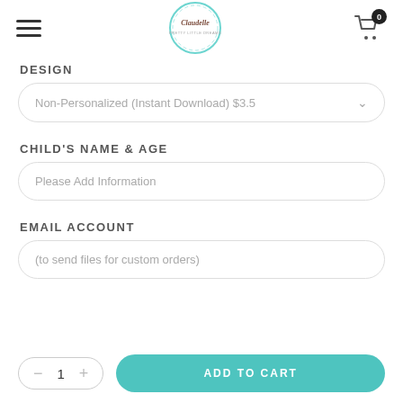Claudelle (logo) | Cart (0)
DESIGN
Non-Personalized (Instant Download) $3.5
CHILD'S NAME & AGE
Please Add Information
EMAIL ACCOUNT
(to send files for custom orders)
- 1 + | ADD TO CART